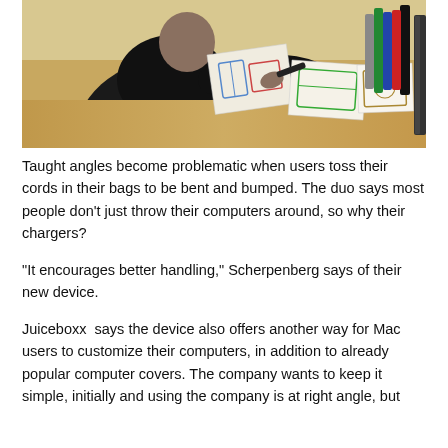[Figure (photo): Overhead view of a person in a dark jacket sitting at a wooden desk, drawing or sketching product designs on paper, with colorful marker drawings and markers visible on the desk, and a dark device on the right side.]
Taught angles become problematic when users toss their cords in their bags to be bent and bumped. The duo says most people don’t just throw their computers around, so why their chargers?
“It encourages better handling,” Scherpenberg says of their new device.
Juiceboxx  says the device also offers another way for Mac users to customize their computers, in addition to already popular computer covers. The company wants to keep it simple, initially and using the company is at right angle, but